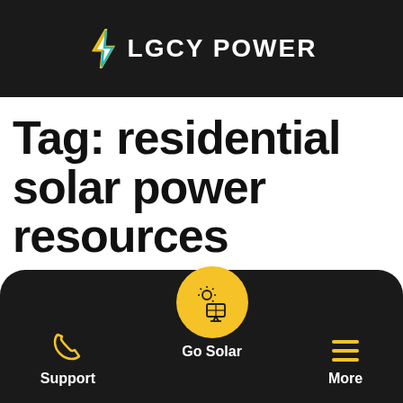LGCY POWER
Tag: residential solar power resources
The Best tools and
Support | Go Solar | More